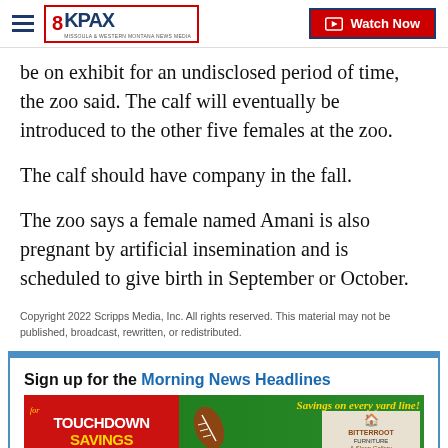8KPAX | Watch Now
be on exhibit for an undisclosed period of time, the zoo said. The calf will eventually be introduced to the other five females at the zoo.
The calf should have company in the fall.
The zoo says a female named Amani is also pregnant by artificial insemination and is scheduled to give birth in September or October.
Copyright 2022 Scripps Media, Inc. All rights reserved. This material may not be published, broadcast, rewritten, or redistributed.
Sign up for the Morning News Headlines Ne... information.
[Figure (advertisement): Touchdown Savings advertisement banner with football imagery and Bitterroot Furniture & Sleep Gallery logo on green football field background]